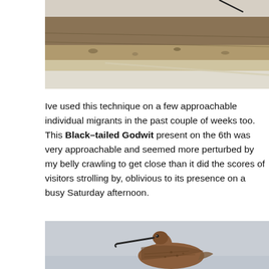[Figure (photo): Top portion of a photo showing a sandy/muddy bank or shoreline with brown earth tones, partial view cropped at top of page.]
Ive used this technique on a few approachable individual migrants in the past couple of weeks too. This Black–tailed Godwit present on the 6th was very approachable and seemed more perturbed by my belly crawling to get close than it did the scores of visitors strolling by, oblivious to its presence on a busy Saturday afternoon.
[Figure (photo): A Black-tailed Godwit bird standing on what appears to be a flat, wet surface. The bird has a long beak, reddish-brown plumage on its breast, and is photographed against a grey overcast sky background. Only the upper portion of the bird is visible as the image is cropped at the bottom of the page.]